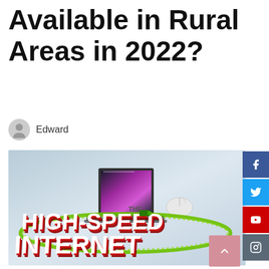Available in Rural Areas in 2022?
Edward
[Figure (photo): 3D illustration showing 'HIGH-SPEED INTERNET' text in large red and white 3D letters with a green orbital ring around them and a laptop computer with mouse on top, set against a light blue-grey background.]